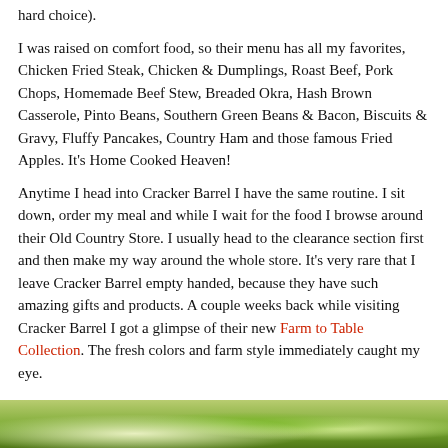hard choice).
I was raised on comfort food, so their menu has all my favorites, Chicken Fried Steak, Chicken & Dumplings, Roast Beef, Pork Chops, Homemade Beef Stew, Breaded Okra, Hash Brown Casserole, Pinto Beans, Southern Green Beans & Bacon, Biscuits & Gravy, Fluffy Pancakes, Country Ham and those famous Fried Apples. It's Home Cooked Heaven!
Anytime I head into Cracker Barrel I have the same routine. I sit down, order my meal and while I wait for the food I browse around their Old Country Store. I usually head to the clearance section first and then make my way around the whole store. It's very rare that I leave Cracker Barrel empty handed, because they have such amazing gifts and products. A couple weeks back while visiting Cracker Barrel I got a glimpse of their new Farm to Table Collection. The fresh colors and farm style immediately caught my eye.
[Figure (photo): Partial view of a colorful farm-style photo at the bottom of the page, showing green and yellow tones suggesting vegetables or farm produce.]